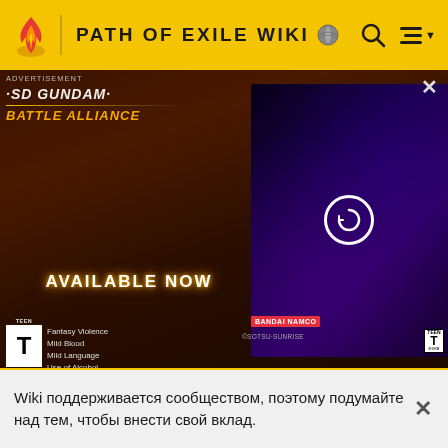PATH OF EXILE WIKI
[Figure (screenshot): Advertisement for SD Gundam Battle Alliance game showing 'AVAILABLE NOW', TEEN rating, Fantasy Violence/Mild Blood/Mild Language/Use of Alcohol descriptors, Bandai Namco publisher logo, and a video thumbnail on the right side with a spaceship/mobile suit in a purple/dark scene with a circular play/loading icon.]
ADVERTISEMENT
SD GUNDAM BATTLE ALLIANCE
AVAILABLE NOW
Fantasy Violence
Mild Blood
Mild Language
Use of Alcohol
BANDAI NAMCO
©SOTSU·SUNRISE
[Figure (screenshot): Code editor screenshot showing Lua/script code with line numbers 129-137. Code includes: type = 'Boolean', default = false, is_multiple_choice_option = { field = 'is_multiple_choice', type = 'Boolean', default = false, }, is_multiple_choice = {]
Wiki поддерживается сообществом, поэтому подумайте над тем, чтобы внести свой вклад.